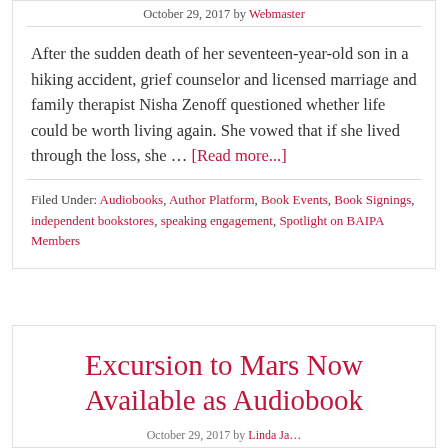October 29, 2017 by Webmaster
After the sudden death of her seventeen-year-old son in a hiking accident, grief counselor and licensed marriage and family therapist Nisha Zenoff questioned whether life could be worth living again. She vowed that if she lived through the loss, she … [Read more...]
Filed Under: Audiobooks, Author Platform, Book Events, Book Signings, independent bookstores, speaking engagement, Spotlight on BAIPA Members
Excursion to Mars Now Available as Audiobook
October 29, 2017 by Linda Ja...